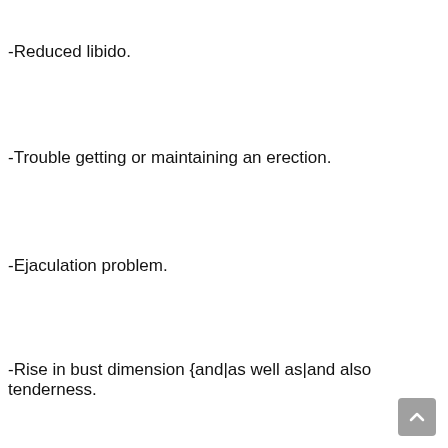-Reduced libido.
-Trouble getting or maintaining an erection.
-Ejaculation problem.
-Rise in bust dimension {and|as well as|and also tenderness.